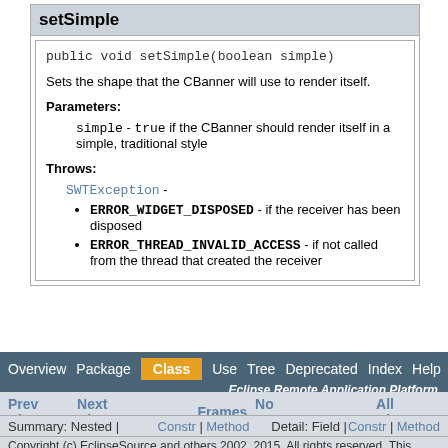setSimple
public void setSimple(boolean simple)
Sets the shape that the CBanner will use to render itself.
Parameters:
simple - true if the CBanner should render itself in a simple, traditional style
Throws:
SWTException -
ERROR_WIDGET_DISPOSED - if the receiver has been disposed
ERROR_THREAD_INVALID_ACCESS - if not called from the thread that created the receiver
Overview  Package  Class  Use  Tree  Deprecated  Index  Help  Eclipse Remote Application Platform
Prev Class  Next Class  Frames  No Frames  All Classes
Summary: Nested | Field | Constr | Method  Detail: Field | Constr | Method
Copyright (c) EclipseSource and others 2002, 2015. All rights reserved. This